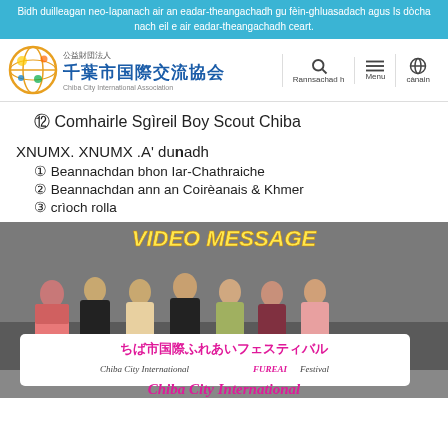Bidh duilleagan neo-Iapanach air an eadar-theangachadh gu fèin-ghluasadach agus Is dòcha nach eil e air eadar-theangachadh ceart.
[Figure (logo): Chiba City International Association logo with Japanese text 千葉市国際交流協会 and globe icon]
⑫ Comhairle Sgìreil Boy Scout Chiba
XNUMX. XNUMX .A' dunadh
① Beannachdan bhon Iar-Chathraiche
② Beannachdan ann an Coirèanais & Khmer
③ crìoch rolla
[Figure (photo): Group photo of people holding a banner reading ちば市国際ふれあいフェスティバル / Chiba City International FUREAI Festival, with VIDEO MESSAGE text overlay at top and Chiba City International text at bottom]